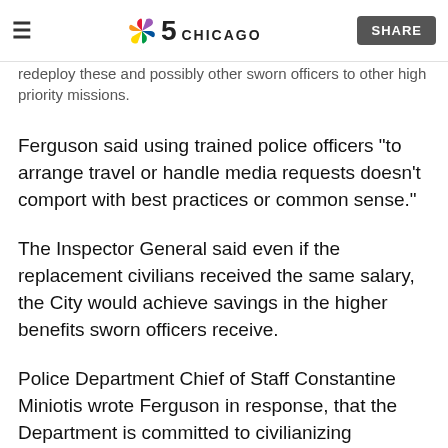NBC 5 Chicago — SHARE
redeploy these and possibly other sworn officers to other high priority missions.
Ferguson said using trained police officers “to arrange travel or handle media requests doesn’t comport with best practices or common sense.”
The Inspector General said even if the replacement civilians received the same salary, the City would achieve savings in the higher benefits sworn officers receive.
Police Department Chief of Staff Constantine Miniotis wrote Ferguson in response, that the Department is committed to civilianizing positions when possible.  But he cautioned that not all jobs can be equally traded between a civilian and a police officer.